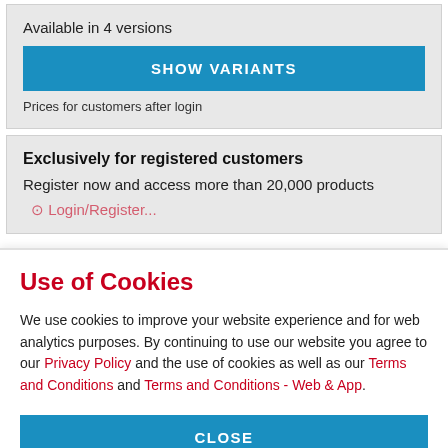Available in 4 versions
SHOW VARIANTS
Prices for customers after login
Exclusively for registered customers
Register now and access more than 20,000 products
Use of Cookies
We use cookies to improve your website experience and for web analytics purposes. By continuing to use our website you agree to our Privacy Policy and the use of cookies as well as our Terms and Conditions and Terms and Conditions - Web & App.
CLOSE